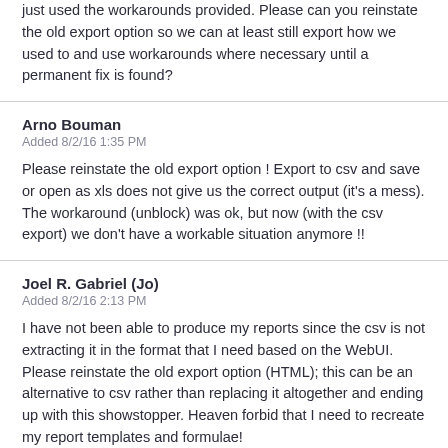just used the workarounds provided. Please can you reinstate the old export option so we can at least still export how we used to and use workarounds where necessary until a permanent fix is found?
Arno Bouman
Added 8/2/16 1:35 PM
Please reinstate the old export option ! Export to csv and save or open as xls does not give us the correct output (it's a mess). The workaround (unblock) was ok, but now (with the csv export) we don't have a workable situation anymore !!
Joel R. Gabriel (Jo)
Added 8/2/16 2:13 PM
I have not been able to produce my reports since the csv is not extracting it in the format that I need based on the WebUI. Please reinstate the old export option (HTML); this can be an alternative to csv rather than replacing it altogether and ending up with this showstopper. Heaven forbid that I need to recreate my report templates and formulae!
Neil OHara